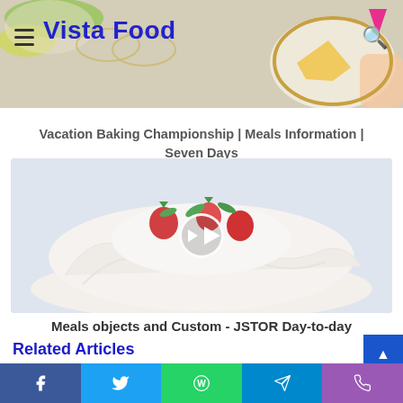Vista Food
Vacation Baking Championship | Meals Information | Seven Days
[Figure (photo): Video thumbnail showing a pavlova dessert topped with fresh strawberries, raspberries and mint leaves. A circular play button overlay is centered on the image.]
Meals objects and Custom - JSTOR Day-to-day
Related Articles